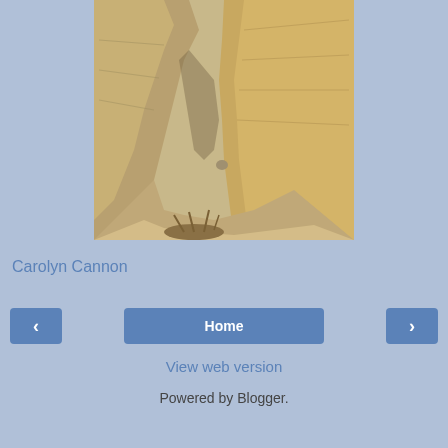[Figure (photo): A desert canyon scene showing sandy rock formations with layered sedimentary walls, sparse dry vegetation at the base, and a narrow passage between the rocks.]
Carolyn Cannon
‹
Home
›
View web version
Powered by Blogger.